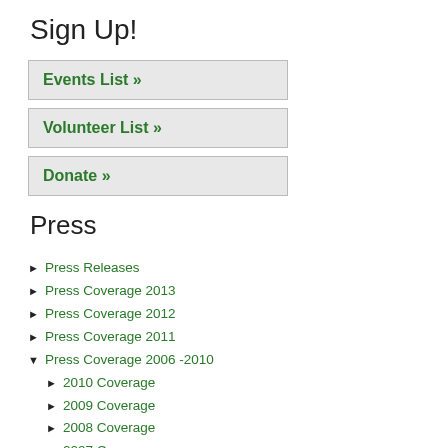Sign Up!
Events List »
Volunteer List »
Donate »
Press
Press Releases
Press Coverage 2013
Press Coverage 2012
Press Coverage 2011
Press Coverage 2006 -2010
2010 Coverage
2009 Coverage
2008 Coverage
2007 Coverage
2007-02-14 - Taken For A Bad Ride - AM New York
2007-02-28 - Bicyclists Give Gift To Chief - The Villager